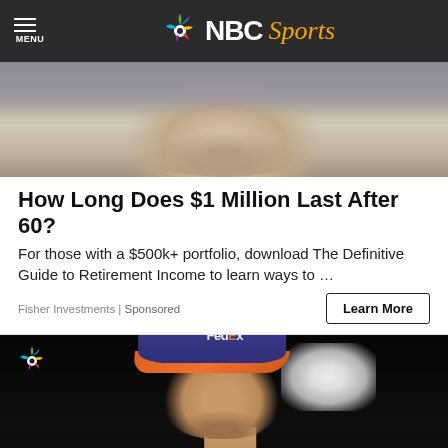MENU | NBC Sports
[Figure (photo): Close-up photo of a person's lower face and neck, wearing earbuds, against a blurred outdoor background]
How Long Does $1 Million Last After 60?
For those with a $500k+ portfolio, download The Definitive Guide to Retirement Income to learn ways to …
Fisher Investments | Sponsored
Learn More
[Figure (photo): NASCAR driver wearing a FedEx branded purple and orange cap, looking to the side in a dark garage environment. NBC peacock logo visible in upper left corner.]